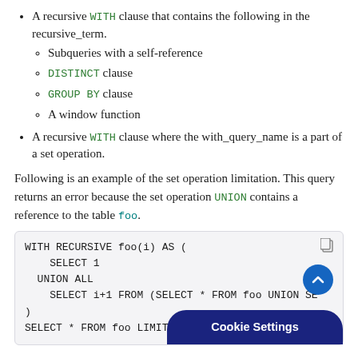A recursive WITH clause that contains the following in the recursive_term.
Subqueries with a self-reference
DISTINCT clause
GROUP BY clause
A window function
A recursive WITH clause where the with_query_name is a part of a set operation.
Following is an example of the set operation limitation. This query returns an error because the set operation UNION contains a reference to the table foo.
WITH RECURSIVE foo(i) AS (
    SELECT 1
  UNION ALL
    SELECT i+1 FROM (SELECT * FROM foo UNION SE
)
SELECT * FROM foo LIMIT 5;